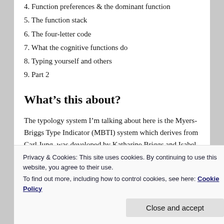4. Function preferences & the dominant function
5. The function stack
6. The four-letter code
7. What the cognitive functions do
8. Typing yourself and others
9. Part 2
What’s this about?
The typology system I’m talking about here is the Myers-Briggs Type Indicator (MBTI) system which derives from Carl Jung, was developed by Katharine Briggs and Isabel Briggs Myers, and was perfected by
Privacy & Cookies: This site uses cookies. By continuing to use this website, you agree to their use.
To find out more, including how to control cookies, see here: Cookie Policy